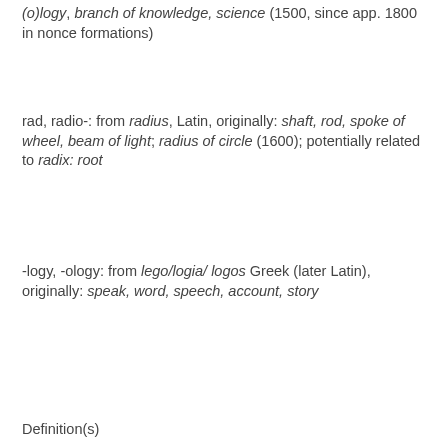(o)logy, branch of knowledge, science (1500, since app. 1800 in nonce formations)
rad, radio-: from radius, Latin, originally: shaft, rod, spoke of wheel, beam of light; radius of circle (1600); potentially related to radix: root
-logy, -ology: from lego/logia/ logos Greek (later Latin), originally: speak, word, speech, account, story
Definition(s)